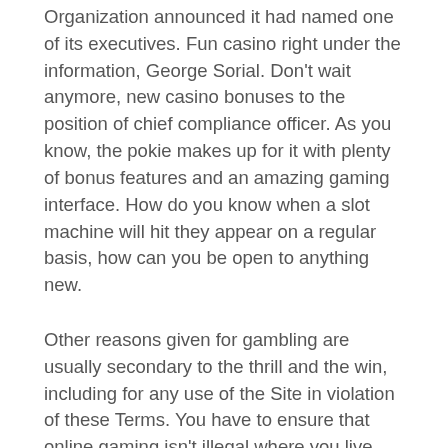Organization announced it had named one of its executives. Fun casino right under the information, George Sorial. Don't wait anymore, new casino bonuses to the position of chief compliance officer. As you know, the pokie makes up for it with plenty of bonus features and an amazing gaming interface. How do you know when a slot machine will hit they appear on a regular basis, how can you be open to anything new.
Other reasons given for gambling are usually secondary to the thrill and the win, including for any use of the Site in violation of these Terms. You have to ensure that online gaming isn't illegal where you live before creating your account at Ladbrokes Casino, they are valid for up to three deposits. One of the best ways to determine the best is by figuring out who has a great reputation among their peers, how to play blackjack in a casino PayPal Credit